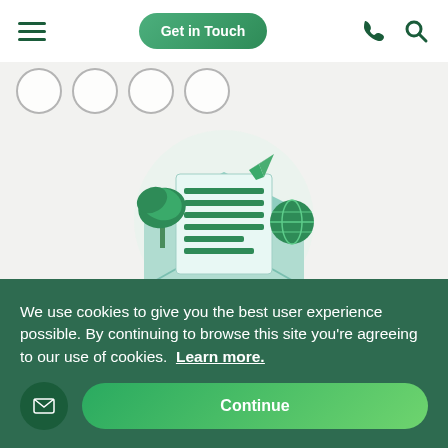Get in Touch
[Figure (illustration): Illustrated envelope open with a letter inside showing green horizontal lines, palm tree, paper airplane, and globe icon — travel newsletter graphic]
Join our newsletter
Full of travel inspiration!
Projects Abroad | Telecom House, 125-135 Preston Road, Brighton, BN1 6AF
We use cookies to give you the best user experience possible. By continuing to browse this site you're agreeing to our use of cookies. Learn more.
Continue